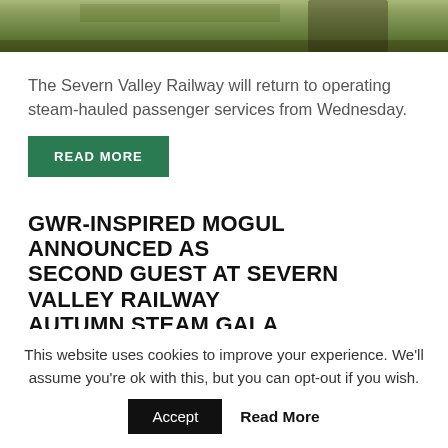[Figure (photo): Aerial or ground-level view of overgrown railway tracks with vegetation and foliage]
The Severn Valley Railway will return to operating steam-hauled passenger services from Wednesday.
READ MORE
GWR-INSPIRED MOGUL ANNOUNCED AS SECOND GUEST AT SEVERN VALLEY RAILWAY AUTUMN STEAM GALA
15th August 2022  Alex Bestwick  News
This website uses cookies to improve your experience. We'll assume you're ok with this, but you can opt-out if you wish.
Accept  Read More